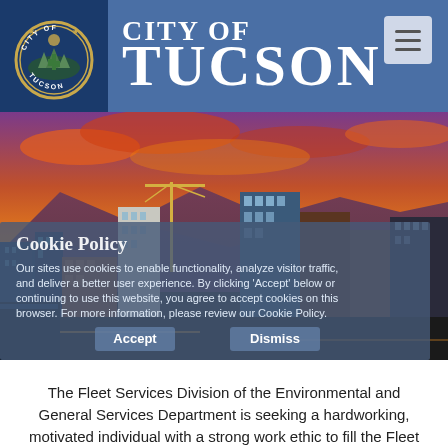City of Tucson
[Figure (photo): Aerial/elevated photo of Tucson city skyline at sunset with mountains in background, orange and purple sky, construction cranes, downtown buildings]
Cookie Policy
Our sites use cookies to enable functionality, analyze visitor traffic, and deliver a better user experience. By clicking 'Accept' below or continuing to use this website, you agree to accept cookies on this browser. For more information, please review our Cookie Policy.
The Fleet Services Division of the Environmental and General Services Department is seeking a hardworking, motivated individual with a strong work ethic to fill the Fleet Service Attendant position.